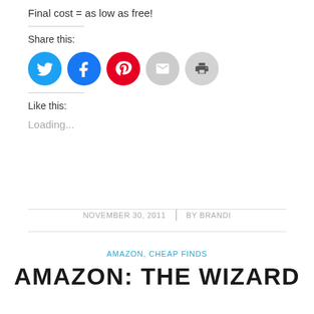Final cost = as low as free!
Share this:
[Figure (other): Social sharing buttons: Twitter (blue circle), Facebook (blue circle), Pinterest (red circle), Email (grey circle), Print (grey circle)]
Like this:
Loading...
NOVEMBER 30, 2011  |  BY BRANDI
AMAZON, CHEAP FINDS
AMAZON: THE WIZARD